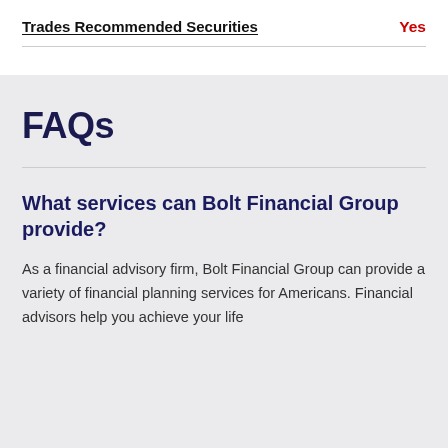|  |  |
| --- | --- |
| Trades Recommended Securities | Yes |
FAQs
What services can Bolt Financial Group provide?
As a financial advisory firm, Bolt Financial Group can provide a variety of financial planning services for Americans. Financial advisors help you achieve your life